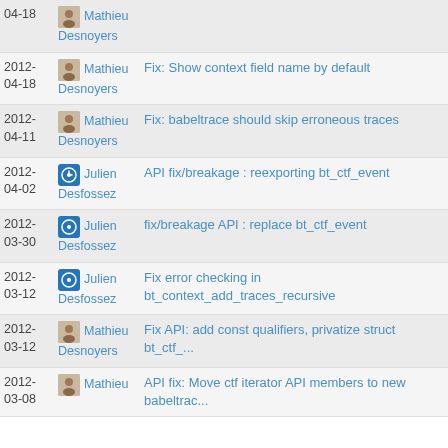2012-04-18 Mathieu Desnoyers (truncated top)
2012-04-18 Mathieu Desnoyers Fix: Show context field name by default
2012-04-11 Mathieu Desnoyers Fix: babeltrace should skip erroneous traces
2012-04-02 Julien Desfossez API fix/breakage : reexporting bt_ctf_event
2012-03-30 Julien Desfossez fix/breakage API : replace bt_ctf_event
2012-03-12 Julien Desfossez Fix error checking in bt_context_add_traces_recursive
2012-03-12 Mathieu Desnoyers Fix API: add const qualifiers, privatize struct bt_ctf_...
2012-03-08 Mathieu Desnoyers API fix: Move ctf iterator API members to new babeltrac...